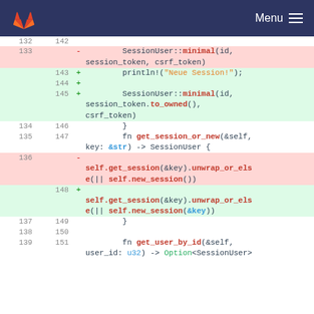GitLab — Menu
[Figure (screenshot): Git diff view showing Rust source code changes. Lines 133-139 (old) and 142-151 (new) are shown. Removed lines (red background) include SessionUser::minimal(id, session_token, csrf_token) and self.get_session(&key).unwrap_or_else(|| self.new_session()). Added lines (green background) include println!("Neue Session!"); and SessionUser::minimal with session_token.to_owned(), and self.new_session(&key). Context lines show closing braces, fn get_session_or_new(&self, key: &str) -> SessionUser {, fn get_user_by_id(&self, user_id: u32) -> Option<SessionUser>.]